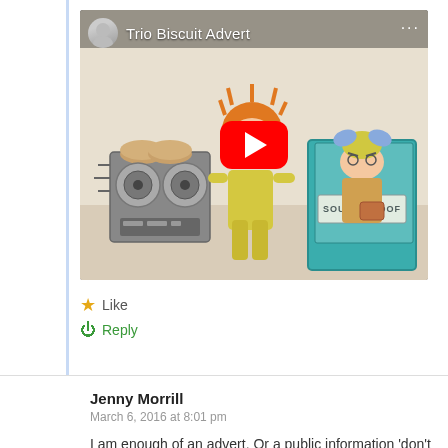[Figure (screenshot): YouTube video thumbnail showing 'Trio Biscuit Advert' with cartoon characters — a boy with orange hair and glasses next to a reel-to-reel tape recorder, and a girl in a soundproof box labeled 'SOUND PROOF'. A red YouTube play button is overlaid in the center.]
Like
Reply
Jenny Morrill
March 6, 2016 at 8:01 pm
I am enough of an advert. Or a public information 'don't